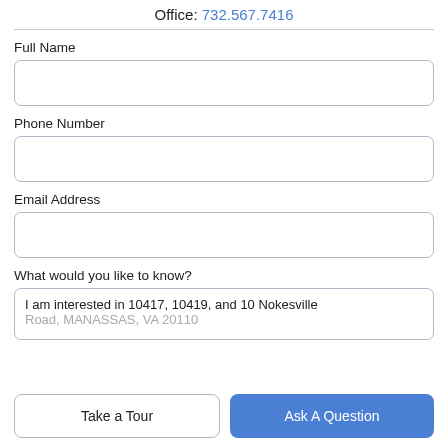Office: 732.567.7416
Full Name
Phone Number
Email Address
What would you like to know?
I am interested in 10417, 10419, and 10 Nokesville Road, MANASSAS, VA 20110
Take a Tour
Ask A Question